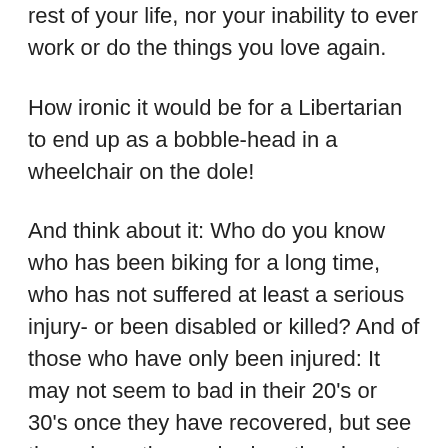rest of your life, nor your inability to ever work or do the things you love again.
How ironic it would be for a Libertarian to end up as a bobble-head in a wheelchair on the dole!
And think about it: Who do you know who has been biking for a long time, who has not suffered at least a serious injury- or been disabled or killed? And of those who have only been injured: It may not seem to bad in their 20's or 30's once they have recovered, but see them down the road, when they have to live from 45 to 75 in pain and misery and not being able to have full functionality them because of those injuries, even they seemed fine in their 20's and 30's.
Don't gamble with your life or health. It's a worse